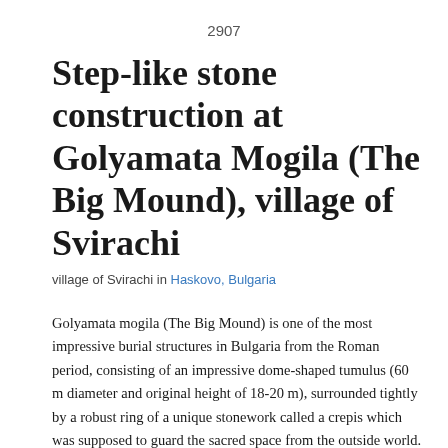2907
Step-like stone construction at Golyamata Mogila (The Big Mound), village of Svirachi
village of Svirachi in Haskovo, Bulgaria
Golyamata mogila (The Big Mound) is one of the most impressive burial structures in Bulgaria from the Roman period, consisting of an impressive dome-shaped tumulus (60 m diameter and original height of 18-20 m), surrounded tightly by a robust ring of a unique stonework called a crepis which was supposed to guard the sacred space from the outside world. Apart from its cult functions, the crepis also had a purely technical purpose - to keep the embankment in place. In this case, scholars perceive it not as an ordinary stone